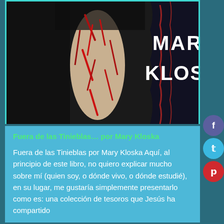[Figure (illustration): Book cover for 'Fuera de las Tinieblas' by Mary Kloska. Dark painting showing a figure with red and black brushstrokes, with white text reading 'MARY KLOSKA' on the right side.]
Fuera de las Tinieblas… por Mary Kloska
Fuera de las Tinieblas por Mary Kloska Aquí, al principio de este libro, no quiero explicar mucho sobre mí (quien soy, o dónde vivo, o dónde estudié), en su lugar, me gustaría simplemente presentarlo como es: una colección de tesoros que Jesús ha compartido